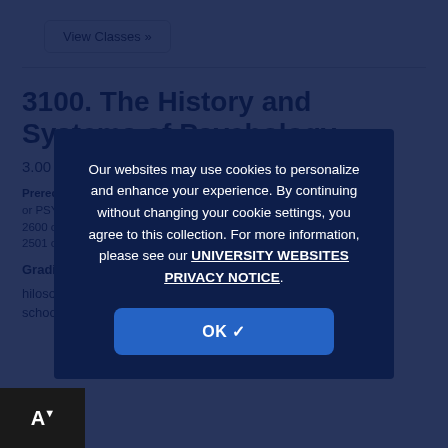View Classes »
3100. The History and Systems of Psychology
3.00 credits
Prerequisites: PSYC 1100 or PSYC 1103 or PSYC 2300 or PSYC 2300W or PSYC 2401 or PSYC 2400 or PSYC 2600 or PSYC 2601 or PSYC 1100E or PSYC 2480 or PSYC 2501 or PSYC 3201 or PSYC 3500 or PSYC 3501.
Grading Basis: Graded
philosophical and scientific origins and major schools, including structuralism, functionalism,
Our websites may use cookies to personalize and enhance your experience. By continuing without changing your cookie settings, you agree to this collection. For more information, please see our UNIVERSITY WEBSITES PRIVACY NOTICE.